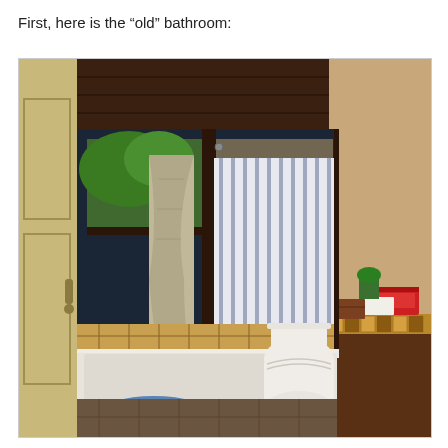First, here is the “old” bathroom:
[Figure (photo): Interior photo of an old bathroom showing a bathtub with a striped shower curtain on a rod, dark wood ceiling and walls, a window above the tub with green trees visible outside, a towel hanging on a hook, a toilet on the right side next to a vanity with a patterned tile countertop, items on top of the vanity, and a blue cloth on the floor.]